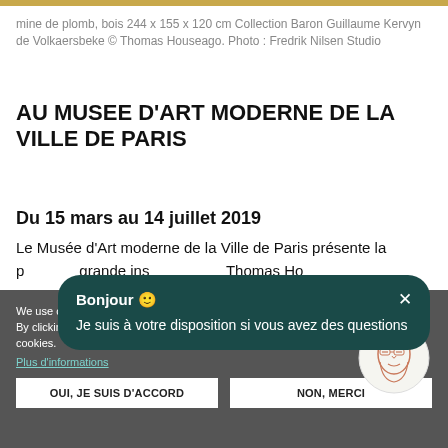mine de plomb, bois 244 x 155 x 120 cm Collection Baron Guillaume Kervyn de Volkaersbeke © Thomas Houseago. Photo : Fredrik Nilsen Studio
AU MUSEE D'ART MODERNE DE LA VILLE DE PARIS
Du 15 mars au 14 juillet 2019
Le Musée d'Art moderne de la Ville de Paris présente la première grande ins… Thomas Ho…
[Figure (screenshot): Chat bubble overlay with text: Bonjour 🙂 Je suis à votre disposition si vous avez des questions, with close button X]
We use cookies on this site to enhance your user experience By clicking any link on this page you are giving your consent for us to set cookies.
Plus d'informations
[Figure (illustration): Circular avatar with line-art illustration of a face with glasses]
OUI, JE SUIS D'ACCORD
NON, MERCI